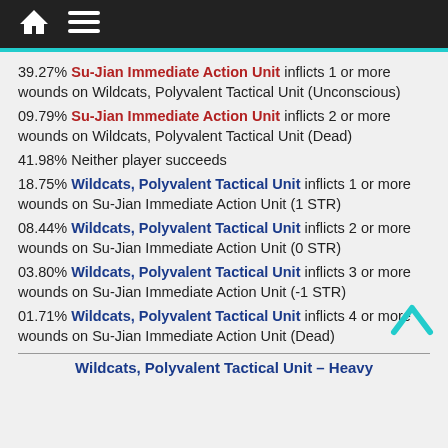Home Menu
39.27% Su-Jian Immediate Action Unit inflicts 1 or more wounds on Wildcats, Polyvalent Tactical Unit (Unconscious)
09.79% Su-Jian Immediate Action Unit inflicts 2 or more wounds on Wildcats, Polyvalent Tactical Unit (Dead)
41.98% Neither player succeeds
18.75% Wildcats, Polyvalent Tactical Unit inflicts 1 or more wounds on Su-Jian Immediate Action Unit (1 STR)
08.44% Wildcats, Polyvalent Tactical Unit inflicts 2 or more wounds on Su-Jian Immediate Action Unit (0 STR)
03.80% Wildcats, Polyvalent Tactical Unit inflicts 3 or more wounds on Su-Jian Immediate Action Unit (-1 STR)
01.71% Wildcats, Polyvalent Tactical Unit inflicts 4 or more wounds on Su-Jian Immediate Action Unit (Dead)
Wildcats, Polyvalent Tactical Unit – Heavy